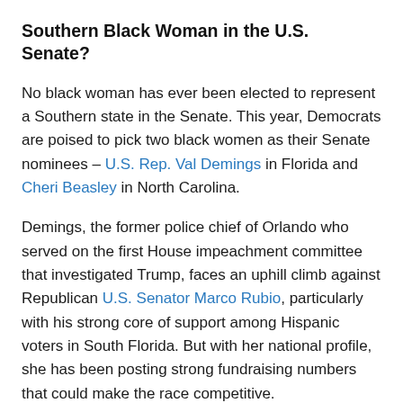Southern Black Woman in the U.S. Senate?
No black woman has ever been elected to represent a Southern state in the Senate. This year, Democrats are poised to pick two black women as their Senate nominees – U.S. Rep. Val Demings in Florida and Cheri Beasley in North Carolina.
Demings, the former police chief of Orlando who served on the first House impeachment committee that investigated Trump, faces an uphill climb against Republican U.S. Senator Marco Rubio, particularly with his strong core of support among Hispanic voters in South Florida. But with her national profile, she has been posting strong fundraising numbers that could make the race competitive.